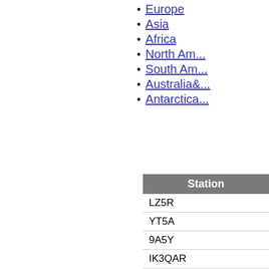Europe
Asia
Africa
North America
South America
Australia&...
Antarctica...
| Station |
| --- |
| LZ5R |
| YT5A |
| 9A5Y |
| IK3QAR |
| S52P |
| SN7Q |
| YR8D |
| EA5DFV |
| YO7SR |
| 9A5W |
| HA8JV |
| TM2O |